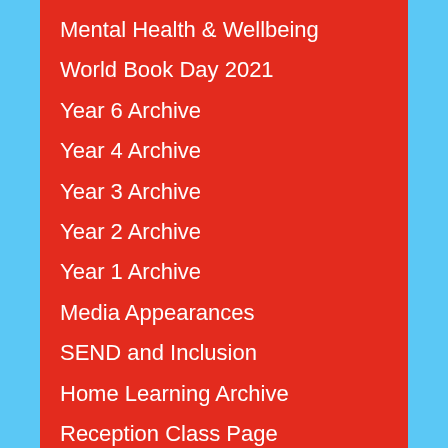Mental Health & Wellbeing
World Book Day 2021
Year 6 Archive
Year 4 Archive
Year 3 Archive
Year 2 Archive
Year 1 Archive
Media Appearances
SEND and Inclusion
Home Learning Archive
Reception Class Page
Year 1 Class Page